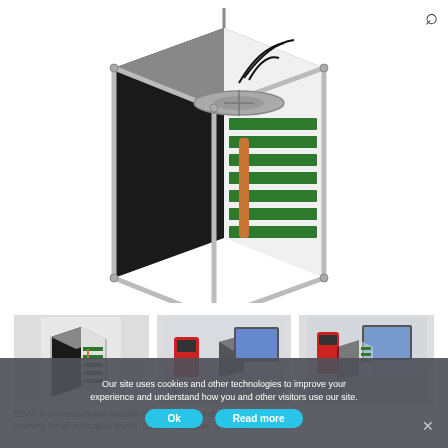[Figure (photo): CubeSat educational satellite model with aluminum frame, solar panel sides, green circuit boards visible inside, copper heat pipe, and wiring — main product photo on white background]
[Figure (photo): Small thumbnail: same CubeSat from slightly different angle]
[Figure (photo): Medium thumbnail: CubeSat on desk with red multimeter and laptop visible]
[Figure (photo): Medium thumbnail: CubeSat on desk with red multimeter and laptop, slightly different angle]
Our site uses cookies and other technologies to improve your experience and understand how you and other visitors use our site.
ESAT is an educational satellite designed for hands-on learning for all education levels. STEM education, university